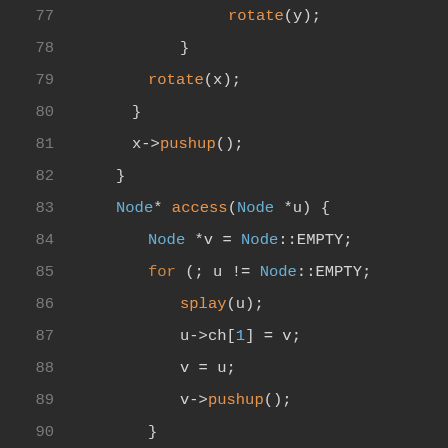[Figure (screenshot): Code editor screenshot showing C++ splay tree implementation, lines 77-94, dark theme with syntax highlighting. Line numbers in gray, keywords in blue/orange, identifiers in white/light gray.]